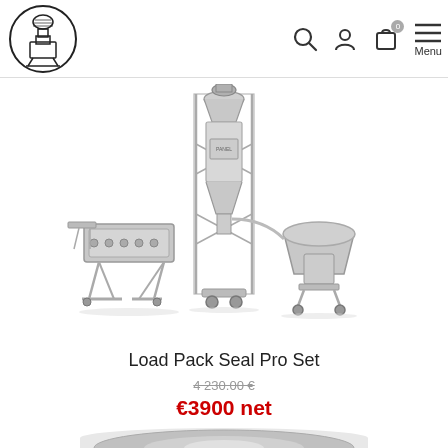[Figure (logo): Industrial machine/grinder logo icon in circular border]
[Figure (other): Navigation icons: search magnifier, user/account person, shopping bag with badge showing 0, and Menu hamburger icon]
[Figure (photo): Load Pack Seal Pro Set - industrial packaging machine system with vertical auger filler tower in center, band sealer on left, and weighing/dispensing unit on right, all stainless steel]
Load Pack Seal Pro Set
4 230.00 €
€3900 net
[Figure (photo): Partial bottom image showing what appears to be a chrome/metallic circular machine component, cropped at bottom of page]